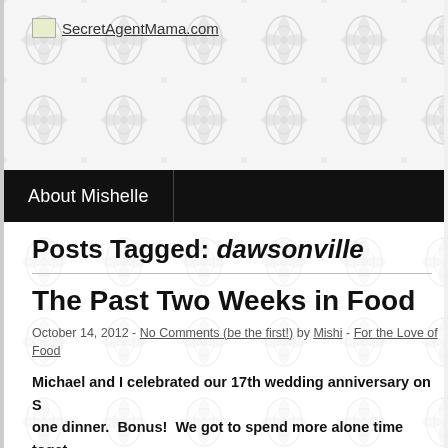SecretAgentMama.com
About Mishelle
Posts Tagged: dawsonville
The Past Two Weeks in Food
October 14, 2012 - No Comments (be the first!) by Mishi - For the Love of Food
Michael and I celebrated our 17th wedding anniversary on S one dinner.  Bonus!  We got to spend more alone time toget
Thus begins this food essay....